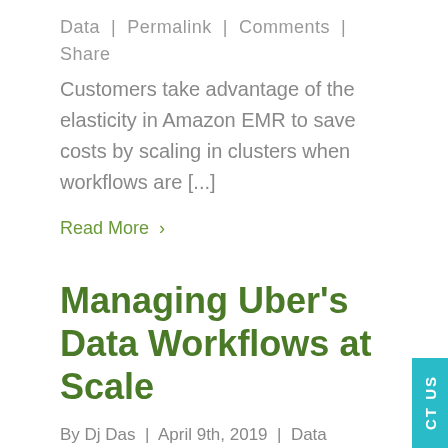Data | Permalink | Comments | Share
Customers take advantage of the elasticity in Amazon EMR to save costs by scaling in clusters when workflows are [...]
Read More >
Managing Uber’s Data Workflows at Scale
By Dj Das | April 9th, 2019 | Data
At Uber’s scale, thousands of